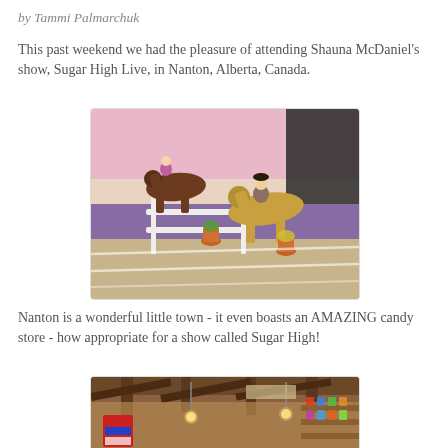by Tammi Palmarchuk
This past weekend we had the pleasure of attending Shauna McDaniel's show, Sugar High Live, in Nanton, Alberta, Canada.
[Figure (photo): Model horses on a show table with a white fence jump, purple table covering, and small decorative potted plants. Two rider figures on horses, one bay and one palomino/buckskin.]
Nanton is a wonderful little town  -  it even boasts an AMAZING candy store - how appropriate for a show called Sugar High!
[Figure (photo): Interior of a candy store with wooden ceiling beams, hanging lights, shelves of candy, and colorful signage.]